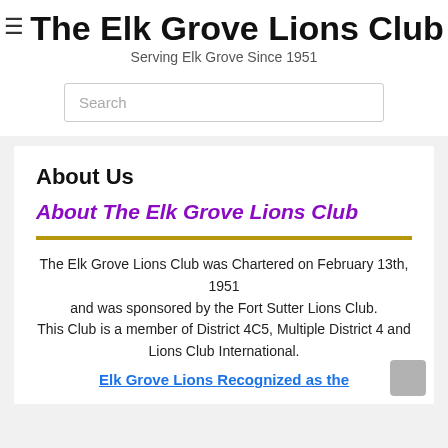The Elk Grove Lions Club
Serving Elk Grove Since 1951
Search
About Us
About The Elk Grove Lions Club
The Elk Grove Lions Club was Chartered on February 13th, 1951 and was sponsored by the Fort Sutter Lions Club. This Club is a member of District 4C5, Multiple District 4 and Lions Club International.
Elk Grove Lions Recognized as the